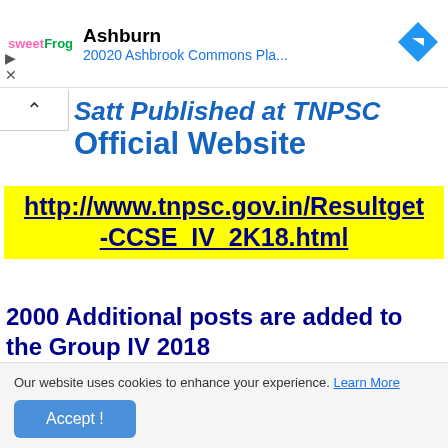[Figure (screenshot): Ad banner showing sweetFrog logo with 'Ashburn' heading and '20020 Ashbrook Commons Pla...' subtitle, plus a blue navigation diamond icon on the right]
Satt Published at TNPSC Official Website
http://www.tnpsc.gov.in/Resultget-CCSE_IV_2K18.html
2000 Additional posts are added to the Group IV 2018
Our website uses cookies to enhance your experience. Learn More
Accept !